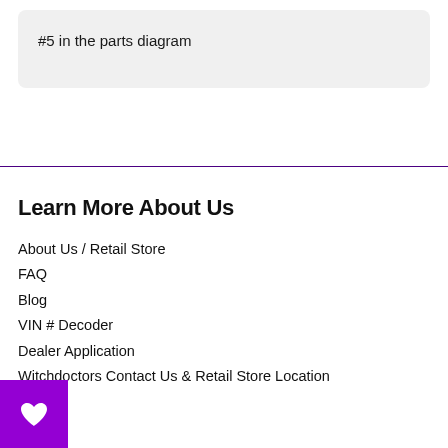#5 in the parts diagram
Learn More About Us
About Us / Retail Store
FAQ
Blog
VIN # Decoder
Dealer Application
Witchdoctors Contact Us & Retail Store Location
[Figure (other): Purple wishlist/heart button in bottom-left corner]